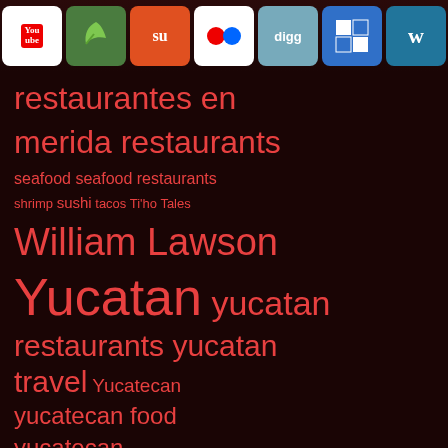[Figure (screenshot): Social media sharing toolbar with icons: YouTube, Stumbleupon (green leaf), StumbleUpon, Flickr, Digg, Delicious, Wordpress, LinkedIn, Reddit, iMessage/Chat, Facebook, Twitter, RSS]
restaurantes en merida restaurants seafood seafood restaurants shrimp sushi tacos Ti'ho Tales William Lawson Yucatan yucatan restaurants yucatan travel Yucatecan yucatecan food yucatecan restaurants